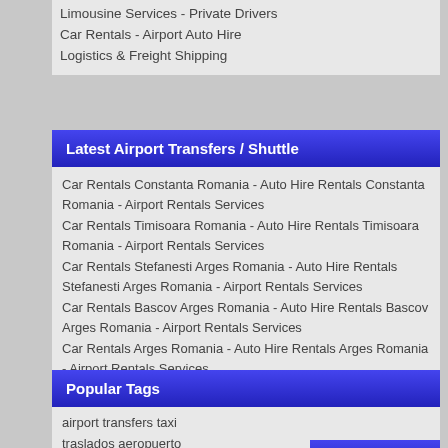Limousine Services - Private Drivers
Car Rentals - Airport Auto Hire
Logistics & Freight Shipping
Latest Airport Transfers / Shuttle
Car Rentals Constanta Romania - Auto Hire Rentals Constanta Romania - Airport Rentals Services
Car Rentals Timisoara Romania - Auto Hire Rentals Timisoara Romania - Airport Rentals Services
Car Rentals Stefanesti Arges Romania - Auto Hire Rentals Stefanesti Arges Romania - Airport Rentals Services
Car Rentals Bascov Arges Romania - Auto Hire Rentals Bascov Arges Romania - Airport Rentals Services
Car Rentals Arges Romania - Auto Hire Rentals Arges Romania - Airport Rentals Services
Limousine Services Bascov Arges Romania - Luxury Sedan Services Bascov Arges Romania
Limousine Services Stefanesti Arges Romania - Luxury Sedan Services Stefanesti Arges Romania
Limousine Services Pitesti Arges Romania - Luxury Sedan Services Pitesti Arges Romania
Popular Tags
airport transfers taxi
traslados aeropuerto
morocco tours
^Back To Top